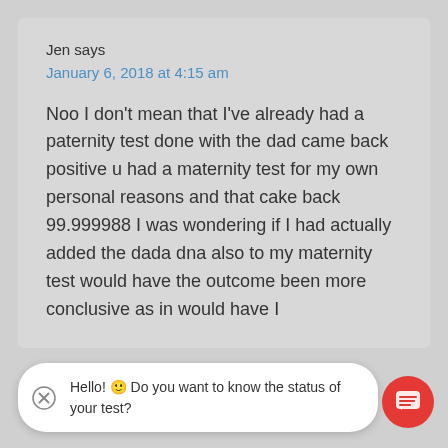Jen says
January 6, 2018 at 4:15 am
Noo I don't mean that I've already had a paternity test done with the dad came back positive u had a maternity test for my own personal reasons and that cake back 99.999988 I was wondering if I had actually added the dada dna also to my maternity test would have the outcome been more conclusive as in would have I
Hello! 🙂 Do you want to know the status of your test?